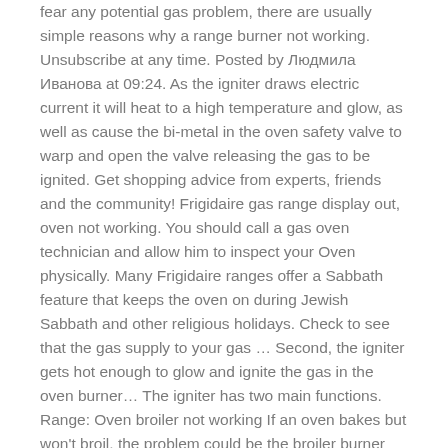fear any potential gas problem, there are usually simple reasons why a range burner not working. Unsubscribe at any time. Posted by Людмила Иванова at 09:24. As the igniter draws electric current it will heat to a high temperature and glow, as well as cause the bi-metal in the oven safety valve to warp and open the valve releasing the gas to be ignited. Get shopping advice from experts, friends and the community! Frigidaire gas range display out, oven not working. You should call a gas oven technician and allow him to inspect your Oven physically. Many Frigidaire ranges offer a Sabbath feature that keeps the oven on during Jewish Sabbath and other religious holidays. Check to see that the gas supply to your gas … Second, the igniter gets hot enough to glow and ignite the gas in the oven burner… The igniter has two main functions. Range: Oven broiler not working If an oven bakes but won't broil, the problem could be the broiler burner igniter or the electronic oven control board in a gas oven. If you don't hear the ticking sound of a